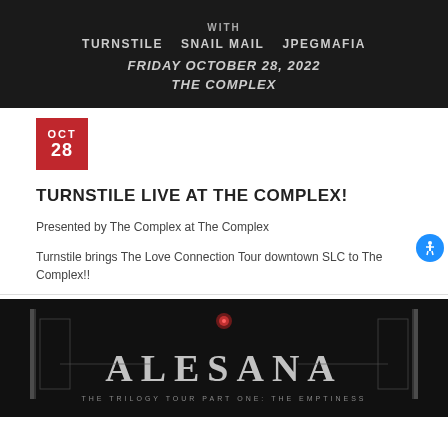[Figure (photo): Concert poster on dark background showing WITH / TURNSTILE  SNAIL MAIL  JPEGMAFIA / FRIDAY OCTOBER 28, 2022 / THE COMPLEX]
OCT
28
TURNSTILE LIVE AT THE COMPLEX!
Presented by The Complex at The Complex
Turnstile brings The Love Connection Tour downtown SLC to The Complex!!
[Figure (photo): Alesana band artwork - The Trilogy Tour Part One: The Emptiness - dark gothic design with ornate lettering]